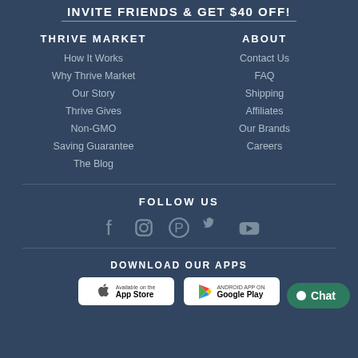INVITE FRIENDS & GET $40 OFF!
THRIVE MARKET
How It Works
Why Thrive Market
Our Story
Thrive Gives
Non-GMO
Saving Guarantee
The Blog
ABOUT
Contact Us
FAQ
Shipping
Affiliates
Our Brands
Careers
FOLLOW US
[Figure (infographic): Social media icons: Facebook, Instagram, Pinterest, Twitter, YouTube]
DOWNLOAD OUR APPS
[Figure (infographic): App store badges: Available on the App Store (Apple) and Android App on Google Play]
Chat